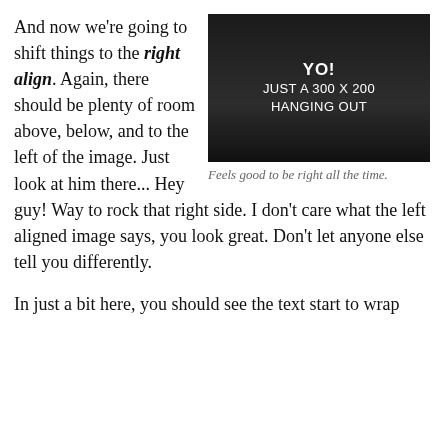[Figure (other): Dark/black rectangle image placeholder with white text reading 'YO! JUST A 300 X 200 HANGING OUT']
Feels good to be right all the time.
And now we're going to shift things to the right align. Again, there should be plenty of room above, below, and to the left of the image. Just look at him there... Hey guy! Way to rock that right side. I don't care what the left aligned image says, you look great. Don't let anyone else tell you differently.
In just a bit here, you should see the text start to wrap